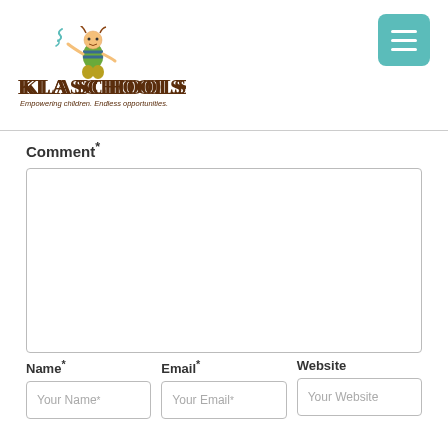[Figure (logo): KLA Schools logo with cartoon ant child figure, text 'KLA SCHOOLS' and tagline 'Empowering children. Endless opportunities.']
[Figure (other): Teal/turquoise hamburger menu button (three horizontal lines) in top right corner]
Comment*
Name*
Email*
Website
Your Name *
Your Email *
Your Website